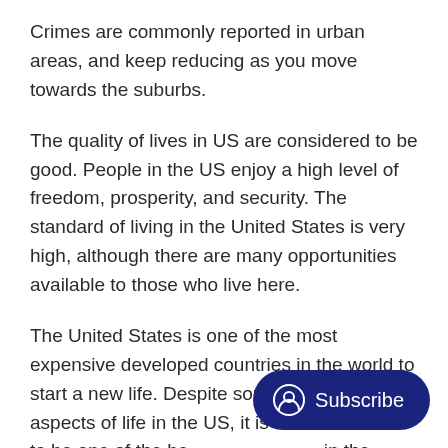Crimes are commonly reported in urban areas, and keep reducing as you move towards the suburbs.
The quality of lives in US are considered to be good. People in the US enjoy a high level of freedom, prosperity, and security. The standard of living in the United States is very high, although there are many opportunities available to those who live here.
The United States is one of the most expensive developed countries in the world to start a new life. Despite some negative aspects of life in the US, it is still considered to be one of the be… in the world.